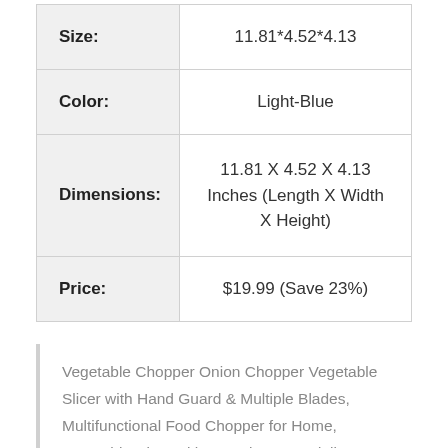| Attribute | Value |
| --- | --- |
| Size: | 11.81*4.52*4.13 |
| Color: | Light-Blue |
| Dimensions: | 11.81 X 4.52 X 4.13 Inches (Length X Width X Height) |
| Price: | $19.99 (Save 23%) |
Vegetable Chopper Onion Chopper Vegetable Slicer with Hand Guard & Multiple Blades, Multifunctional Food Chopper for Home, Vegetable Dicer with Container, Mandoline Slicer for Kitchen Gadgets